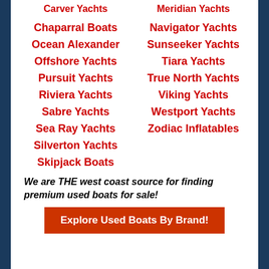Carver Yachts
Meridian Yachts
Chaparral Boats
Navigator Yachts
Ocean Alexander
Sunseeker Yachts
Offshore Yachts
Tiara Yachts
Pursuit Yachts
True North Yachts
Riviera Yachts
Viking Yachts
Sabre Yachts
Westport Yachts
Sea Ray Yachts
Zodiac Inflatables
Silverton Yachts
Skipjack Boats
We are THE west coast source for finding premium used boats for sale!
Explore Used Boats By Brand!